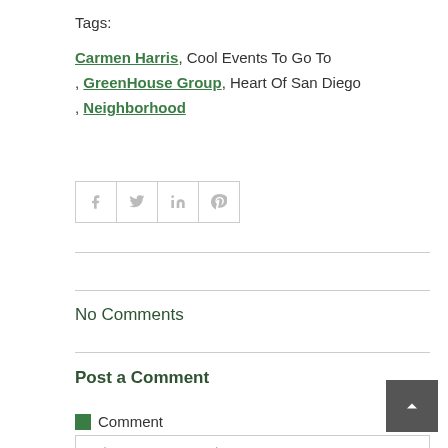Tags:
Carmen Harris, Cool Events To Go To, GreenHouse Group, Heart Of San Diego, Neighborhood
[Figure (other): Social share buttons: Facebook, Twitter, LinkedIn, Pinterest]
No Comments
Post a Comment
Comment
Write your comment here...